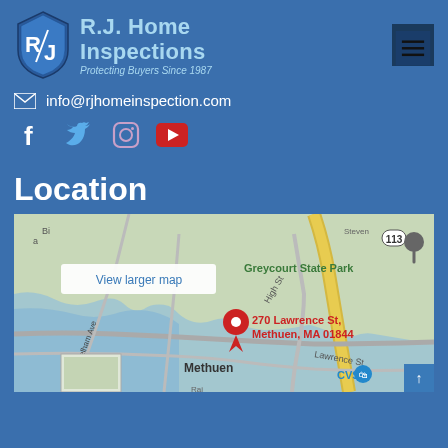[Figure (logo): R.J. Home Inspections shield logo with text 'R.J. Home Inspections - Protecting Buyers Since 1987']
info@rjhomeinspection.com
[Figure (infographic): Social media icons: Facebook, Twitter, Instagram, YouTube]
Location
[Figure (map): Google map showing 270 Lawrence St, Methuen, MA 01844 with red location pin and 'View larger map' button. Shows Greycourt State Park, Lawrence St, CVS, Pelham Ave, Methuen area.]